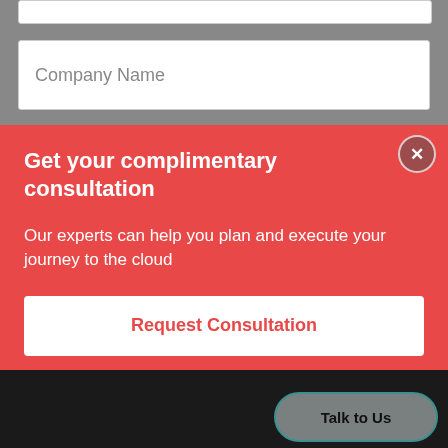[Figure (screenshot): Gray form background with partial white input bar at top and Company Name text input field]
Company Name
[Figure (screenshot): Red modal popup with close button (X), title 'Get your complimentary consultation', body text 'Our experts can help you plan and execute your journey to the cloud', and a white 'Request Consultation' button]
Get your complimentary consultation
Our experts can help you plan and execute your journey to the cloud
Request Consultation
Talk to Us